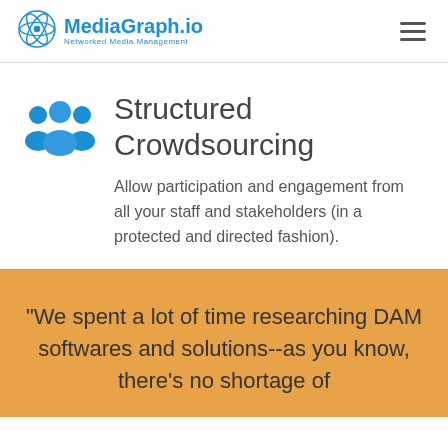MediaGraph.io — Networked Media Management
Structured Crowdsourcing
Allow participation and engagement from all your staff and stakeholders (in a protected and directed fashion).
"We spent a lot of time researching DAM softwares and solutions--as you know, there's no shortage of